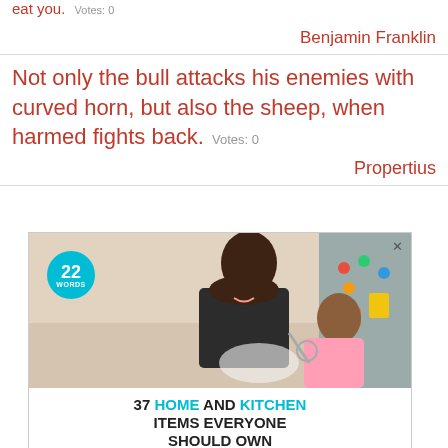eat you.  Votes: 0
Benjamin Franklin
Not only the bull attacks his enemies with curved horn, but also the sheep, when harmed fights back.  Votes: 0
Propertius
[Figure (photo): Advertisement showing a mother and daughter cooking together in a kitchen, with text '37 HOME AND KITCHEN ITEMS EVERYONE SHOULD OWN' and a '22 Words' badge logo.]